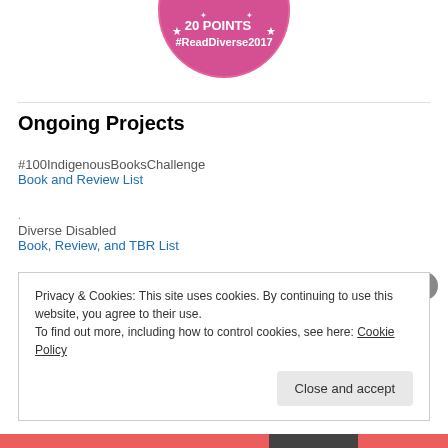[Figure (illustration): Pink circular badge with text '20 POINTS' and '#ReadDiverse2017' with stars, partially cropped at top]
Ongoing Projects
#100IndigenousBooksChallenge
Book and Review List
.
Diverse Disabled
Book, Review, and TBR List
Privacy & Cookies: This site uses cookies. By continuing to use this website, you agree to their use.
To find out more, including how to control cookies, see here: Cookie Policy